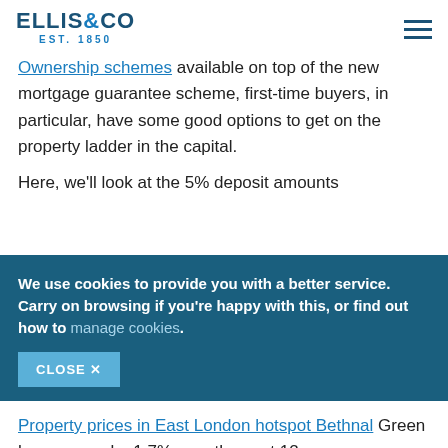[Figure (logo): Ellis & Co logo with EST. 1850 tagline and hamburger menu icon]
Ownership schemes available on top of the new mortgage guarantee scheme, first-time buyers, in particular, have some good options to get on the property ladder in the capital.
Here, we'll look at the 5% deposit amounts required for some of London's hotspots...
We use cookies to provide you with a better service. Carry on browsing if you're happy with this, or find out how to manage cookies. CLOSE ✕
Bethnal Green
Property prices in East London hotspot Bethnal Green have grown by 1.7% over the past 12